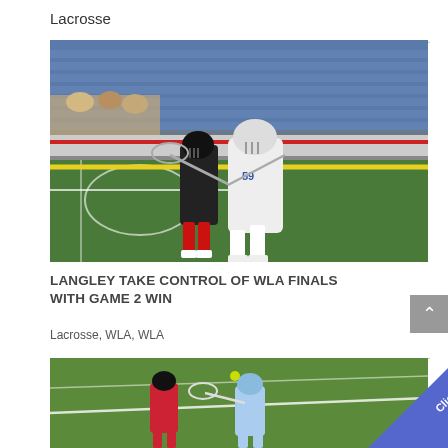Lacrosse
[Figure (photo): Two lacrosse players on an indoor turf field, one in white jersey number 59, the other in dark jersey, competing during a WLA game. Blue stadium seats visible in background.]
LANGLEY TAKE CONTROL OF WLA FINALS WITH GAME 2 WIN
Lacrosse, WLA, WLA
[Figure (photo): Outdoor lacrosse game in progress, players in red and light blue uniforms competing on a grass field. A 'Click it!' promotional badge is overlaid in the lower right corner.]